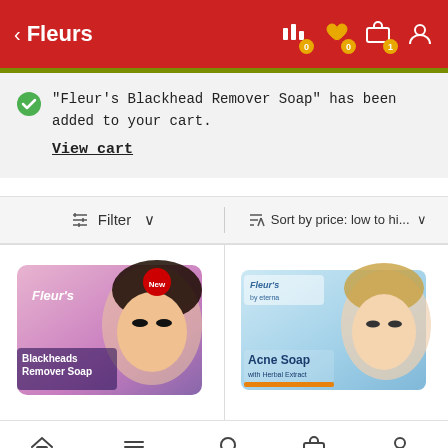Fleurs
"Fleur's Blackhead Remover Soap" has been added to your cart.
View cart
Filter  ∨   |   Sort by price: low to hi... ∨
[Figure (photo): Product image of Fleur's Blackheads Remover Soap with a woman's face on packaging]
[Figure (photo): Product image of Fleur's Acne Soap with a woman's face on packaging]
Home  Category  Search  Cart  Account